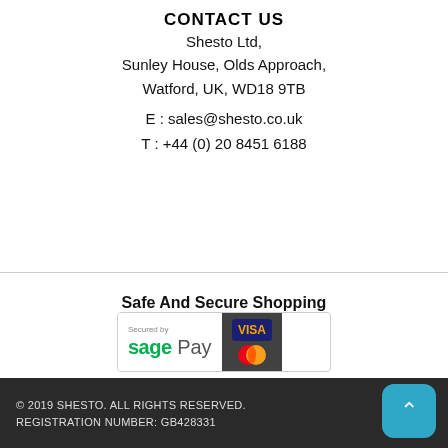CONTACT US
Shesto Ltd,
Sunley House, Olds Approach,
Watford, UK, WD18 9TB
E : sales@shesto.co.uk
T : +44 (0) 20 8451 6188
Safe And Secure Shopping
[Figure (logo): Secured by Sage Pay badge with VISA and Mastercard logos]
Powered By: cloudfy.
© 2019 SHESTO. ALL RIGHTS RESERVED.
REGISTRATION NUMBER: GB428331